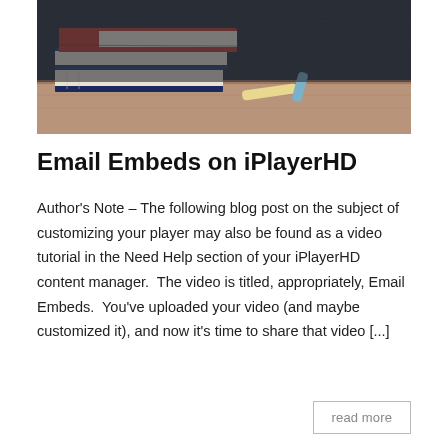[Figure (photo): Stack of books (red and blue) on a wooden desk with chalk pieces, against a dark chalkboard background]
Email Embeds on iPlayerHD
Author's Note – The following blog post on the subject of customizing your player may also be found as a video tutorial in the Need Help section of your iPlayerHD content manager.  The video is titled, appropriately, Email Embeds.  You've uploaded your video (and maybe customized it), and now it's time to share that video [...]
read more